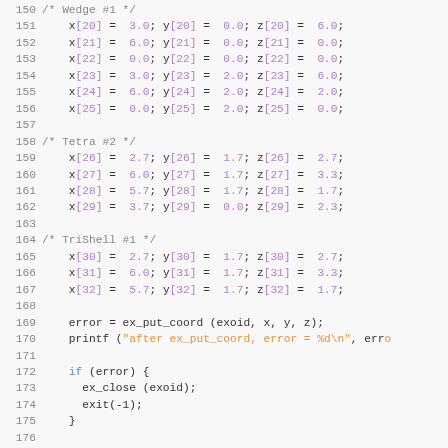Code listing lines 150-179, C source code showing coordinate array assignments and function calls